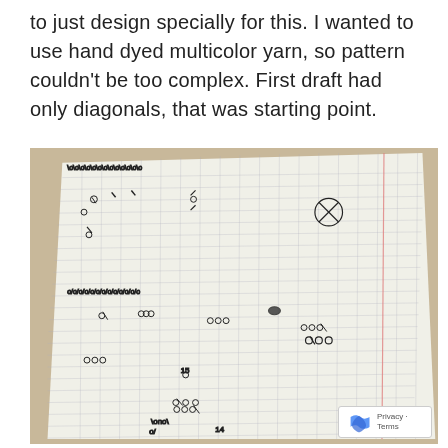to just design specially for this. I wanted to use hand dyed multicolor yarn, so pattern couldn't be too complex. First draft had only diagonals, that was starting point.
[Figure (photo): A photograph of a graph paper notebook page with hand-drawn knitting or crochet pattern notation using symbols like circles, slashes, backslashes, and other marks arranged in rows, showing a first draft design with diagonal patterns.]